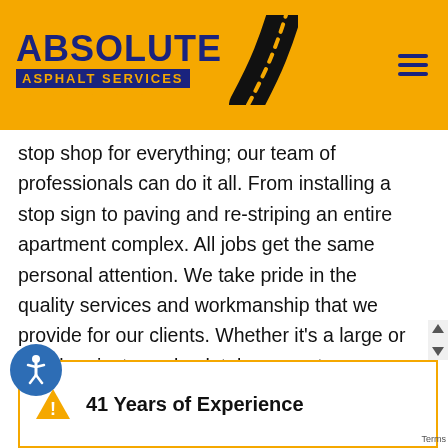ABSOLUTE ASPHALT SERVICES
stop shop for everything; our team of professionals can do it all. From installing a stop sign to paving and re-striping an entire apartment complex. All jobs get the same personal attention. We take pride in the quality services and workmanship that we provide for our clients. Whether it's a large or small project we absolutely guarantee your 100% satisfaction. Check Us Out On Yelp!
41 Years of Experience